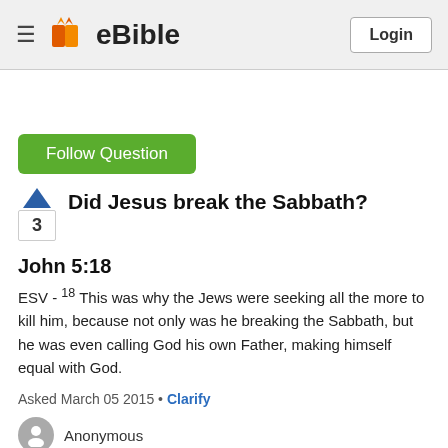eBible | Login
Follow Question
Did Jesus break the Sabbath?
John 5:18
ESV - 18 This was why the Jews were seeking all the more to kill him, because not only was he breaking the Sabbath, but he was even calling God his own Father, making himself equal with God.
Asked March 05 2015 • Clarify
Anonymous